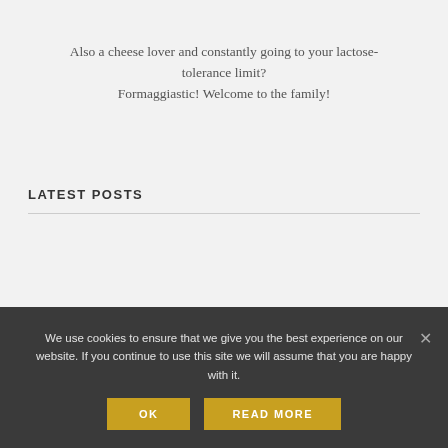Also a cheese lover and constantly going to your lactose-tolerance limit?
Formaggiastic! Welcome to the family!
LATEST POSTS
We use cookies to ensure that we give you the best experience on our website. If you continue to use this site we will assume that you are happy with it.